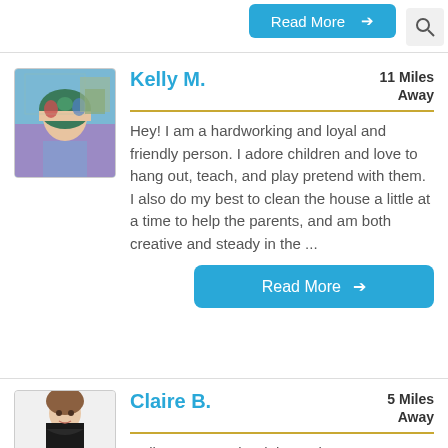[Figure (screenshot): Read More button (partially visible at top) and search icon]
[Figure (photo): Profile photo of Kelly M., a woman with teal/green hair outdoors]
Kelly M.
11 Miles Away
Hey! I am a hardworking and loyal and friendly person. I adore children and love to hang out, teach, and play pretend with them. I also do my best to clean the house a little at a time to help the parents, and am both creative and steady in the ...
Read More →
[Figure (photo): Profile photo of Claire B., a woman with long brown hair smiling]
Claire B.
5 Miles Away
Hello! My name is Claire and I am a